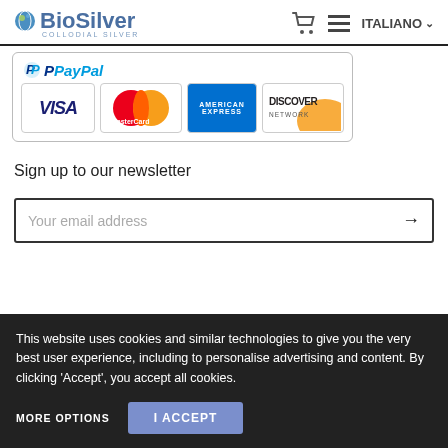BioSilver COLLODIAL SILVER — ITALIANO
[Figure (logo): Payment methods: PayPal, VISA, MasterCard, American Express, Discover Network]
Sign up to our newsletter
Your email address
This website uses cookies and similar technologies to give you the very best user experience, including to personalise advertising and content. By clicking 'Accept', you accept all cookies.
MORE OPTIONS    I ACCEPT